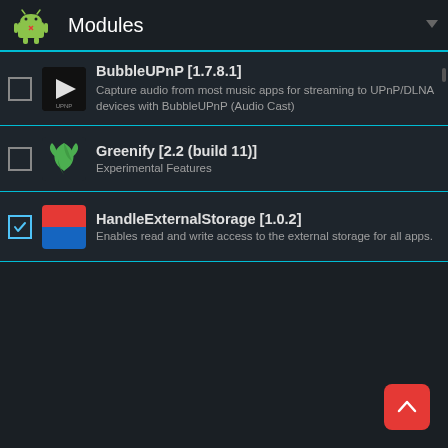Modules
BubbleUPnP [1.7.8.1] — Capture audio from most music apps for streaming to UPnP/DLNA devices with BubbleUPnP (Audio Cast)
Greenify [2.2 (build 11)] — Experimental Features
HandleExternalStorage [1.0.2] — Enables read and write access to the external storage for all apps.